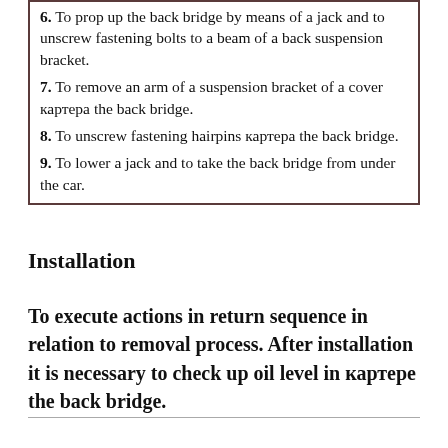6. To prop up the back bridge by means of a jack and to unscrew fastening bolts to a beam of a back suspension bracket.
7. To remove an arm of a suspension bracket of a cover картера the back bridge.
8. To unscrew fastening hairpins картера the back bridge.
9. To lower a jack and to take the back bridge from under the car.
Installation
To execute actions in return sequence in relation to removal process. After installation it is necessary to check up oil level in картере the back bridge.